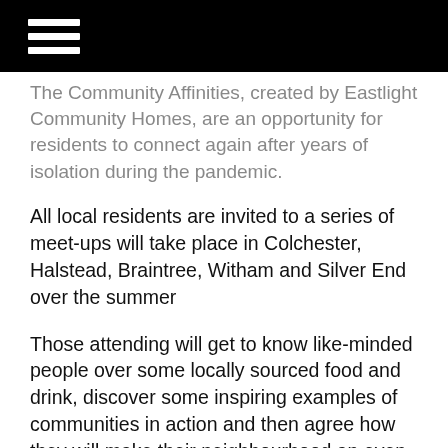☰ (hamburger menu icon)
The Community Affinities, created by Eastlight Community Homes, are an opportunity for residents to connect again after years of isolation during the pandemic.
All local residents are invited to a series of meet-ups will take place in Colchester, Halstead, Braintree, Witham and Silver End over the summer
Those attending will get to know like-minded people over some locally sourced food and drink, discover some inspiring examples of communities in action and then agree how they will make their neighbourhood an even better place to call home.